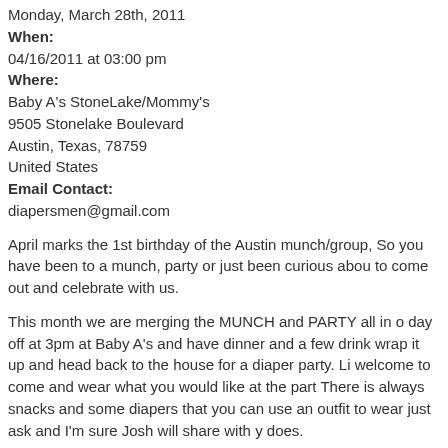Monday, March 28th, 2011
When:
04/16/2011 at 03:00 pm
Where:
Baby A's StoneLake/Mommy's
9505 Stonelake Boulevard
Austin, Texas, 78759
United States
Email Contact:
diapersmen@gmail.com
April marks the 1st birthday of the Austin munch/group, So you have been to a munch, party or just been curious about to come out and celebrate with us.
This month we are merging the MUNCH and PARTY all in one day off at 3pm at Baby A's and have dinner and a few drinks wrap it up and head back to the house for a diaper party. Li welcome to come and wear what you would like at the party. There is always snacks and some diapers that you can use an outfit to wear just ask and I'm sure Josh will share with you does.
Like always we will have movies playing in the back ground toys to play with and good conversation. No birthday party with out cake and ice cream so.... Of course we will have